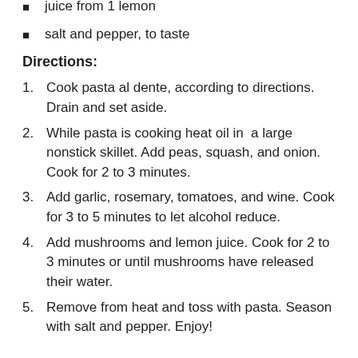juice from 1 lemon
salt and pepper, to taste
Directions:
Cook pasta al dente, according to directions. Drain and set aside.
While pasta is cooking heat oil in  a large nonstick skillet. Add peas, squash, and onion. Cook for 2 to 3 minutes.
Add garlic, rosemary, tomatoes, and wine. Cook for 3 to 5 minutes to let alcohol reduce.
Add mushrooms and lemon juice. Cook for 2 to 3 minutes or until mushrooms have released their water.
Remove from heat and toss with pasta. Season with salt and pepper. Enjoy!